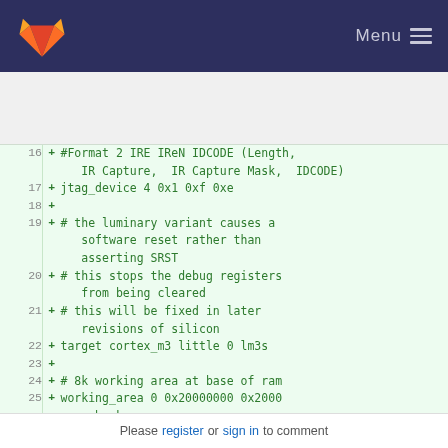Menu
[Figure (screenshot): GitLab code diff view showing lines 16-28 of a configuration file. Lines are highlighted in green as additions. Content includes JTAG device configuration, luminary variant comments, cortex_m3 target definition, working area setup, and flash configuration.]
Please register or sign in to comment